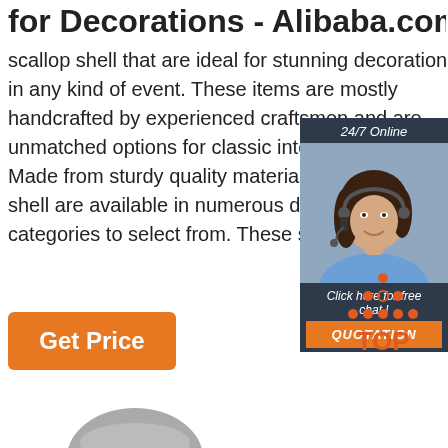for Decorations - Alibaba.com
scallop shell that are ideal for stunning decorations in any kind of event. These items are mostly handcrafted by experienced craftsmen and are unmatched options for classic interior d... Made from sturdy quality materials, these shell are available in numerous designs and categories to select from. These stunnin...
[Figure (photo): 24/7 Online chat widget with a woman wearing a headset, dark background, with 'Click here for free chat!' text and an orange QUOTATION button]
Get Price
[Figure (logo): TOP logo with orange dots arranged in a triangle above the word TOP in orange letters]
[Figure (photo): Partial product photo at bottom]